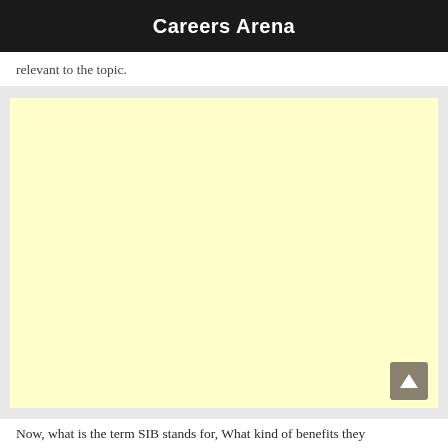Careers Arena
relevant to the topic.
[Figure (other): Advertisement block with light yellow background]
Now, what is the term SIB stands for, What kind of benefits they